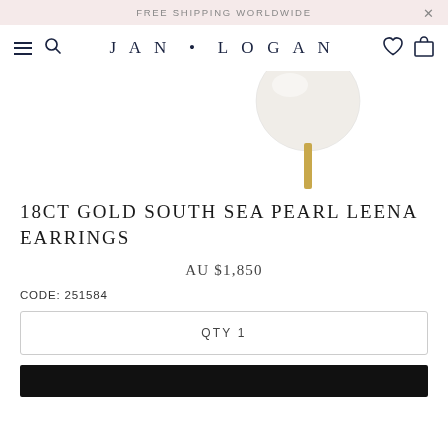FREE SHIPPING WORLDWIDE
JAN • LOGAN
[Figure (photo): Partial view of a South Sea pearl earring with a white/cream round pearl and gold post, on white background]
18CT GOLD SOUTH SEA PEARL LEENA EARRINGS
AU $1,850
CODE: 251584
QTY 1